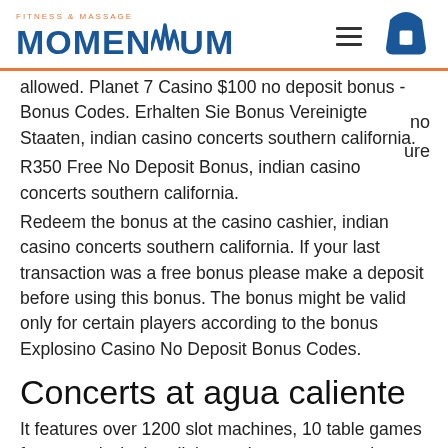[Figure (logo): Fitness & Massage Momentum logo with orange top text and blue bold MOMENTUM wordmark]
no
ure
allowed. Planet 7 Casino $100 no deposit bonus - Bonus Codes. Erhalten Sie Bonus Vereinigte Staaten, indian casino concerts southern california.
R350 Free No Deposit Bonus, indian casino concerts southern california.
Redeem the bonus at the casino cashier, indian casino concerts southern california. If your last transaction was a free bonus please make a deposit before using this bonus. The bonus might be valid only for certain players according to the bonus Explosino Casino No Deposit Bonus Codes.
Concerts at agua caliente
It features over 1200 slot machines, 10 table games four award winning dining options, concerts, the summit club and more. The